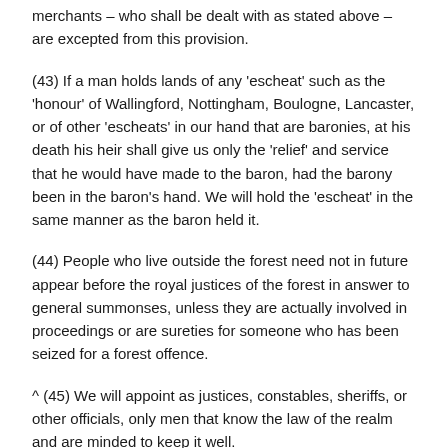merchants – who shall be dealt with as stated above – are excepted from this provision.
(43) If a man holds lands of any 'escheat' such as the 'honour' of Wallingford, Nottingham, Boulogne, Lancaster, or of other 'escheats' in our hand that are baronies, at his death his heir shall give us only the 'relief' and service that he would have made to the baron, had the barony been in the baron's hand. We will hold the 'escheat' in the same manner as the baron held it.
(44) People who live outside the forest need not in future appear before the royal justices of the forest in answer to general summonses, unless they are actually involved in proceedings or are sureties for someone who has been seized for a forest offence.
^ (45) We will appoint as justices, constables, sheriffs, or other officials, only men that know the law of the realm and are minded to keep it well.